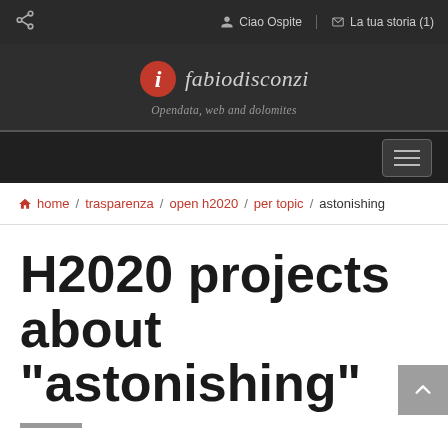Ciao Ospite  /  La tua storia (1)
[Figure (logo): fabiodisconzi logo — red circle with white i letter, followed by italic text 'fabiodisconzi'. Tagline: 'Opendata, web and dolomites']
home / trasparenza / open h2020 / per topic / astonishing
H2020 projects about "astonishing"